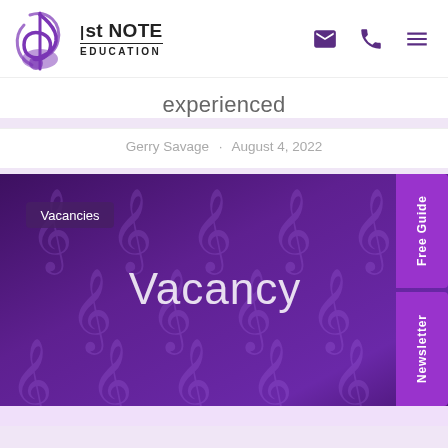[Figure (logo): 1st Note Education logo with purple treble clef icon and text]
experienced
Gerry Savage · August 4, 2022
[Figure (illustration): Purple banner with repeated music note watermark pattern, 'Vacancies' tag, and large 'Vacancy' text in center. Side tabs read 'Free Guide' and 'Newsletter'.]